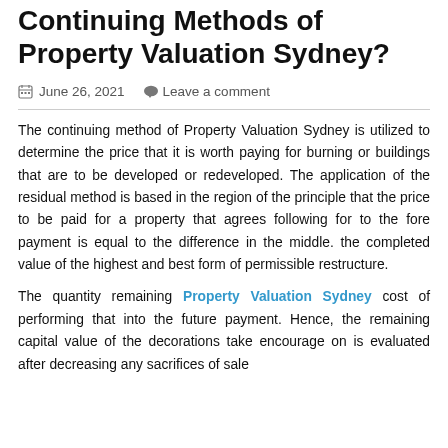Approaches to Predominance Continuing Methods of Property Valuation Sydney?
June 26, 2021   Leave a comment
The continuing method of Property Valuation Sydney is utilized to determine the price that it is worth paying for burning or buildings that are to be developed or redeveloped. The application of the residual method is based in the region of the principle that the price to be paid for a property that agrees following for to the fore payment is equal to the difference in the middle. the completed value of the highest and best form of permissible restructure.
The quantity remaining Property Valuation Sydney cost of performing that into the future payment. Hence, the remaining capital value of the decorations take encourage on is evaluated after decreasing any sacrifices of sale